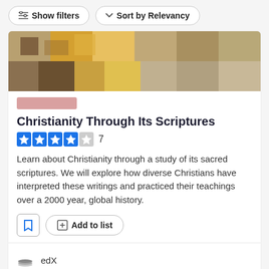Show filters | Sort by Relevancy
[Figure (photo): Blurred/pixelated course thumbnail image with warm golden tones]
[Figure (logo): Provider logo placeholder (pinkish rectangle)]
Christianity Through Its Scriptures
★★★★☆ 7
Learn about Christianity through a study of its sacred scriptures. We will explore how diverse Christians have interpreted these writings and practiced their teachings over a 2000 year, global history.
Add to list
edX
5-10 hours a week, 4 weeks long